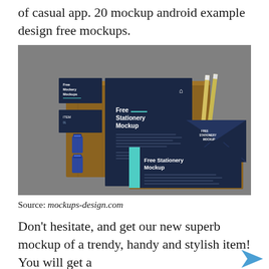of casual app. 20 mockup android example design free mockups.
[Figure (photo): Overhead flat-lay photo of navy blue stationery mockup set on a wooden board against a grey concrete background. Items include business cards, a letterhead sheet with 'Free Stationery Mockup' text, a navy envelope, and a wide landscape card with teal accent bar reading 'Free Stationery Mockup', plus two pencils.]
Source: mockups-design.com
Don't hesitate, and get our new superb mockup of a trendy, handy and stylish item! You will get a